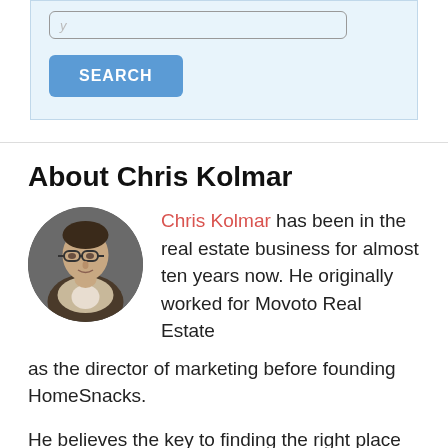[Figure (other): Search input box with placeholder text and a blue SEARCH button on a light blue background]
About Chris Kolmar
[Figure (photo): Circular profile photo of Chris Kolmar, a man wearing glasses]
Chris Kolmar has been in the real estate business for almost ten years now. He originally worked for Movoto Real Estate as the director of marketing before founding HomeSnacks.
He believes the key to finding the right place to live comes down to looking at the data,